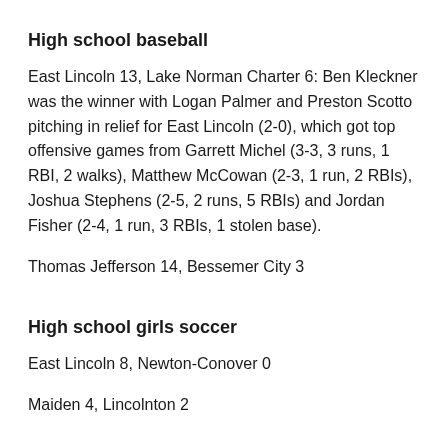High school baseball
East Lincoln 13, Lake Norman Charter 6: Ben Kleckner was the winner with Logan Palmer and Preston Scotto pitching in relief for East Lincoln (2-0), which got top offensive games from Garrett Michel (3-3, 3 runs, 1 RBI, 2 walks), Matthew McCowan (2-3, 1 run, 2 RBIs), Joshua Stephens (2-5, 2 runs, 5 RBIs) and Jordan Fisher (2-4, 1 run, 3 RBIs, 1 stolen base).
Thomas Jefferson 14, Bessemer City 3
High school girls soccer
East Lincoln 8, Newton-Conover 0
Maiden 4, Lincolnton 2